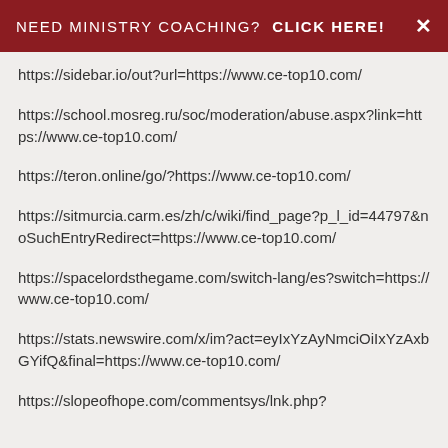NEED MINISTRY COACHING?  CLICK HERE!  ×
https://sidebar.io/out?url=https://www.ce-top10.com/
https://school.mosreg.ru/soc/moderation/abuse.aspx?link=https://www.ce-top10.com/
https://teron.online/go/?https://www.ce-top10.com/
https://sitmurcia.carm.es/zh/c/wiki/find_page?p_l_id=44797&noSuchEntryRedirect=https://www.ce-top10.com/
https://spacelordsthegame.com/switch-lang/es?switch=https://www.ce-top10.com/
https://stats.newswire.com/x/im?act=eyIxYzAyNmciOiIxYzAxbGYifQ&final=https://www.ce-top10.com/
https://slopeofhope.com/commentsys/lnk.php?...